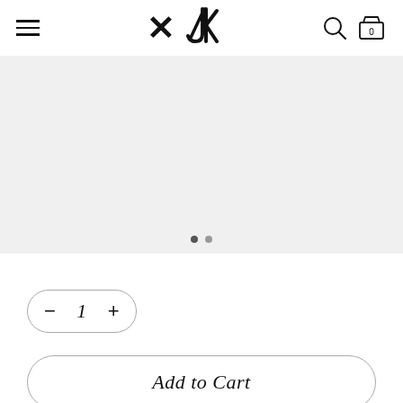Navigation header with hamburger menu, logo (JK), search icon, and cart icon showing 0
[Figure (photo): Light gray image carousel placeholder area with two navigation dots at the bottom center]
— 1 +
Add to Cart